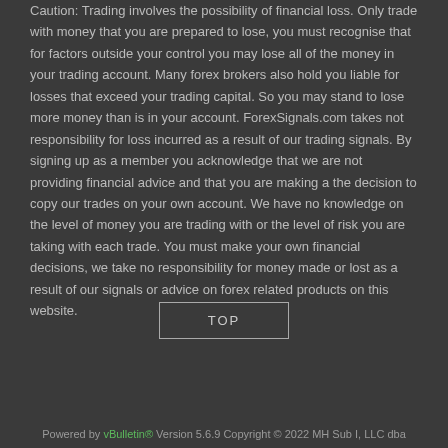Caution: Trading involves the possibility of financial loss. Only trade with money that you are prepared to lose, you must recognise that for factors outside your control you may lose all of the money in your trading account. Many forex brokers also hold you liable for losses that exceed your trading capital. So you may stand to lose more money than is in your account. ForexSignals.com takes not responsibility for loss incurred as a result of our trading signals. By signing up as a member you acknowledge that we are not providing financial advice and that you are making a the decision to copy our trades on your own account. We have no knowledge on the level of money you are trading with or the level of risk you are taking with each trade. You must make your own financial decisions, we take no responsibility for money made or lost as a result of our signals or advice on forex related products on this website.
TOP
Powered by vBulletin® Version 5.6.9 Copyright © 2022 MH Sub I, LLC dba